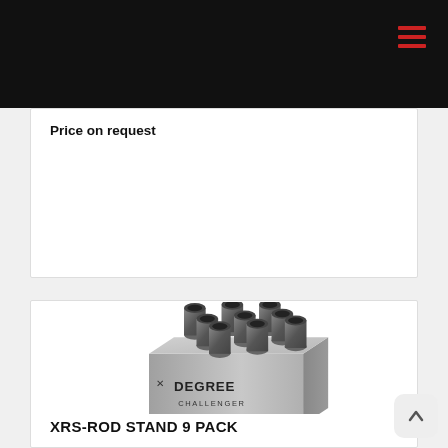Price on request
[Figure (photo): Metal rod stand product with 9 cylindrical tube holders arranged in a 3x3 grid on a rectangular metallic box with 'DEGREE CHALLENGER' branding on the front.]
XRS-ROD STAND 9 PACK